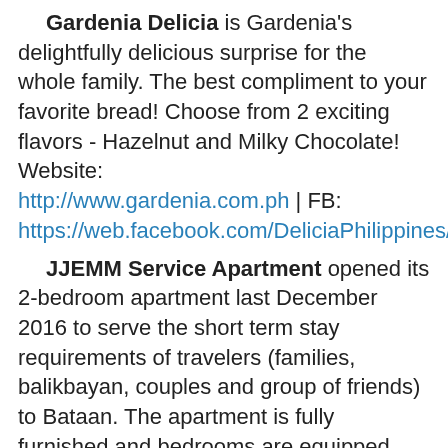Gardenia Delicia is Gardenia's delightfully delicious surprise for the whole family. The best compliment to your favorite bread! Choose from 2 exciting flavors - Hazelnut and Milky Chocolate! Website: http://www.gardenia.com.ph | FB: https://web.facebook.com/DeliciaPhilippines/
JJEMM Service Apartment opened its 2-bedroom apartment last December 2016 to serve the short term stay requirements of travelers (families, balikbayan, couples and group of friends) to Bataan. The apartment is fully furnished and bedrooms are equipped with air conditioner. NOW, no need to worry about booking process and have your stay in the beautiful province of Bataan because JJEMM Service Apartment is now on Airbnb: https://abnb.me/EVmg/353UwdZLJI
Novelina is an industry leader in the production of powder and cream hair color. At the same time, it also carries its professional line of hair care products which includes cream hair color, shampoo, conditioner, and